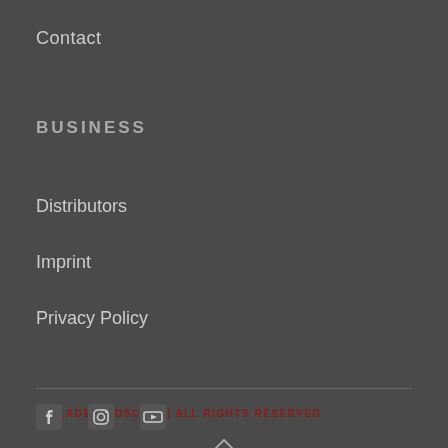Contact
BUSINESS
Distributors
Imprint
Privacy Policy
© GLADEN MOSCONI | ALL RIGHTS RESERVED
[Figure (other): Up arrow caret icon for scroll to top]
[Figure (other): Social media icons: Facebook, Instagram, YouTube]